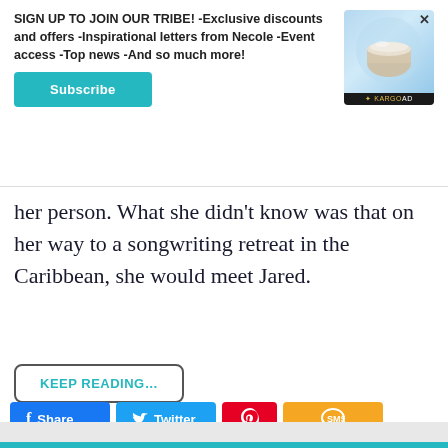SIGN UP TO JOIN OUR TRIBE! -Exclusive discounts and offers -Inspirational letters from Necole -Event access -Top news -And so much more!
Subscribe
[Figure (photo): Advertisement banner with cream jar product and Kargo Ad branding, with close (x) button]
her person. What she didn't know was that on her way to a songwriting retreat in the Caribbean, she would meet Jared.
KEEP READING...
Share
Twitter
[Figure (logo): Pinterest share button icon]
[Figure (logo): SMS share button icon]